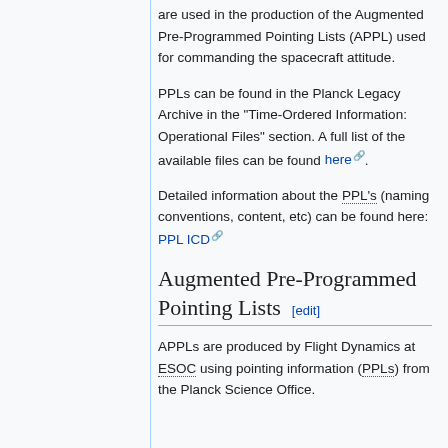are used in the production of the Augmented Pre-Programmed Pointing Lists (APPL) used for commanding the spacecraft attitude.
PPLs can be found in the Planck Legacy Archive in the "Time-Ordered Information: Operational Files" section. A full list of the available files can be found here.
Detailed information about the PPL's (naming conventions, content, etc) can be found here: PPL ICD
Augmented Pre-Programmed Pointing Lists [edit]
APPLs are produced by Flight Dynamics at ESOC using pointing information (PPLs) from the Planck Science Office.